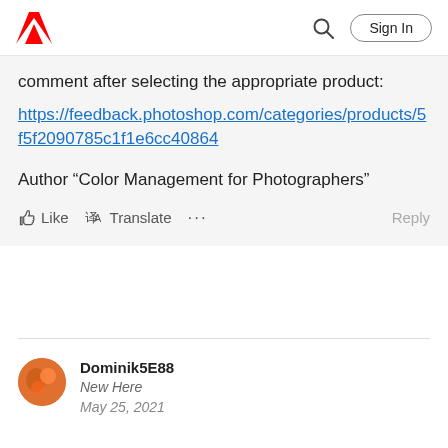Adobe | Sign In
comment after selecting the appropriate product: https://feedback.photoshop.com/categories/products/5f5f2090785c1f1e6cc40864
Author “Color Management for Photographers”
Like  Translate  ...  Reply
Dominik5E88
New Here
May 25, 2021